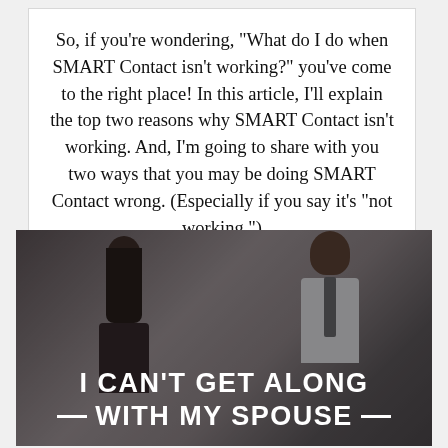So, if you're wondering, "What do I do when SMART Contact isn't working?" you've come to the right place! In this article, I'll explain the top two reasons why SMART Contact isn't working. And, I'm going to share with you two ways that you may be doing SMART Contact wrong. (Especially if you say it's "not working.")
[Figure (photo): A couple facing each other in a tense argument pose. A woman with long dark hair in a striped top faces a man in a white dress shirt and dark tie. The image has a dark, desaturated tone. Overlaid at the bottom is bold white text reading 'I CAN'T GET ALONG WITH MY SPOUSE' with decorative dashes flanking the second line.]